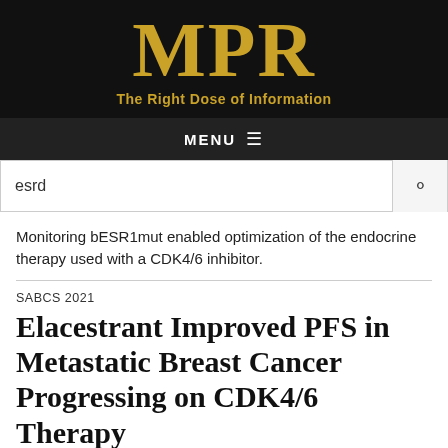[Figure (logo): MPR logo — large gold serif letters MPR with tagline 'The Right Dose of Information' on black background]
MENU ≡
esrd
Monitoring bESR1mut enabled optimization of the endocrine therapy used with a CDK4/6 inhibitor.
SABCS 2021
Elacestrant Improved PFS in Metastatic Breast Cancer Progressing on CDK4/6 Therapy
December 9, 2021